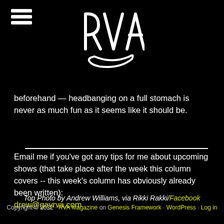[Figure (logo): RVA Magazine logo in white graffiti-style lettering on black background]
beforehand — headbanging on a full stomach is never as much fun as it seems like it should be.
Email me if you've got any tips for me about upcoming shows (that take place after the week this column covers -- this week's column has obviously already been written): drew@gayrva.com
Top Photo by Andrew Williams, via Rikki Rakki/Facebook
Copyright © 2022 · RVA Magazine on Genesis Framework · WordPress · Log in